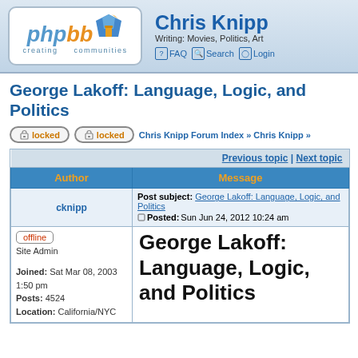[Figure (logo): phpBB logo with blue pentagon shape and orange/yellow accents, text 'creating communities']
Chris Knipp
Writing: Movies, Politics, Art
FAQ  Search  Login
George Lakoff: Language, Logic, and Politics
locked  locked  Chris Knipp Forum Index » Chris Knipp »
| Author | Message |
| --- | --- |
| Previous topic | Next topic |
| cknipp | Post subject: George Lakoff: Language, Logic, and Politics
Posted: Sun Jun 24, 2012 10:24 am |
| offline
Site Admin
Joined: Sat Mar 08, 2003 1:50 pm
Posts: 4524
Location: California/NYC | George Lakoff: Language, Logic, and Politics |